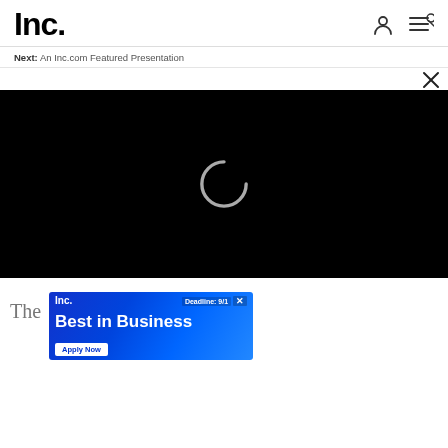Inc.
Next: An Inc.com Featured Presentation
[Figure (screenshot): Black video player area with a grey loading spinner (circle arc) centered on black background]
[Figure (screenshot): Inc. Best in Business advertisement banner with blue gradient background, showing 'Inc.' logo, 'Deadline: 9/1', 'Best in Business' text, and 'Apply Now' button]
The